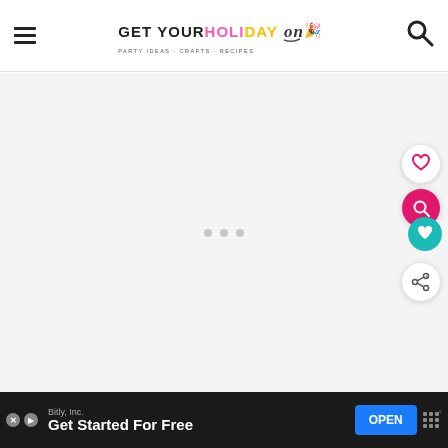GET YOUR HOLIDAY on — PARTY IDEAS · CRAFTS · RECIPES
[Figure (screenshot): Loading content area with three gray dots centered on a light gray background]
[Figure (infographic): Sidebar floating action buttons: white circle with pink heart icon, pink circle with white search icon, teal circle with white heart icon, white circle with share icon]
[Figure (screenshot): Advertisement bar at bottom: Bitly Inc. ad with 'Get Started For Free' headline and blue OPEN button]